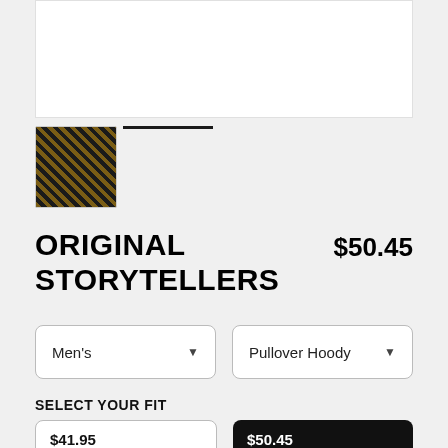[Figure (photo): White product image display area (main image placeholder)]
[Figure (photo): Thumbnail image of Original Storytellers product with gold and black pattern]
ORIGINAL STORYTELLERS
$50.45
Men's (dropdown)
Pullover Hoody (dropdown)
SELECT YOUR FIT
$41.95
French Terry
$50.45
Sponge Fleece